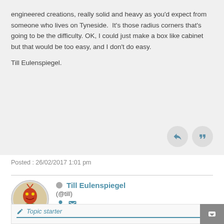engineered creations, really solid and heavy as you'd expect from someone who lives on Tyneside.  It's those radius corners that's going to be the difficulty. OK, I could just make a box like cabinet but that would be too easy, and I don't do easy.
Till Eulenspiegel.
Posted : 26/02/2017 1:01 pm
Till Eulenspiegel (@till) Illustrious Member
Topic starter
Circuit diagram of the self oscillating line timebase.  It's a lot simpler than the LTB in the V230.  Interesting to